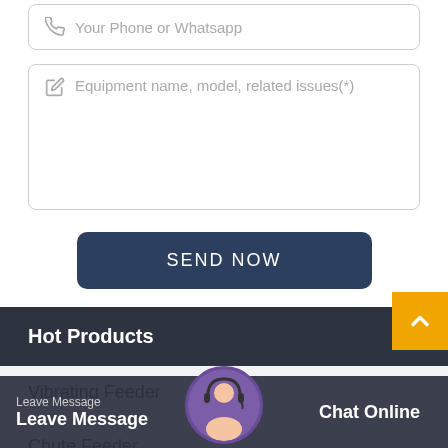Your Phone or Whatsapp
Equipment name, model, related issues(*)
SEND NOW
Hot Products
Vibrating Feeder
Chute Feeder
Leave Message
Chat Online